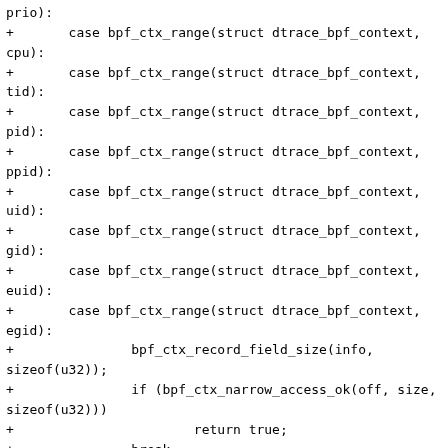prio):
+       case bpf_ctx_range(struct dtrace_bpf_context,
cpu):
+       case bpf_ctx_range(struct dtrace_bpf_context,
tid):
+       case bpf_ctx_range(struct dtrace_bpf_context,
pid):
+       case bpf_ctx_range(struct dtrace_bpf_context,
ppid):
+       case bpf_ctx_range(struct dtrace_bpf_context,
uid):
+       case bpf_ctx_range(struct dtrace_bpf_context,
gid):
+       case bpf_ctx_range(struct dtrace_bpf_context,
euid):
+       case bpf_ctx_range(struct dtrace_bpf_context,
egid):
+               bpf_ctx_record_field_size(info,
sizeof(u32));
+               if (bpf_ctx_narrow_access_ok(off, size,
sizeof(u32)))
+                       return true;
+               break;
+       default:
+               if (size == sizeof(unsigned long))
+                       return true;
+       }
+
+       return false;
+}